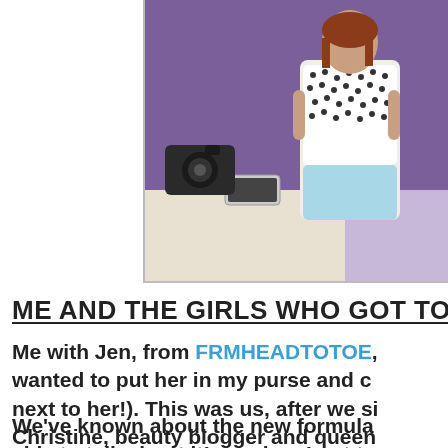[Figure (photo): Photo of two women, one wearing a black and white dotted top with light blue shorts/skirt, standing next to another person, with a camera visible in the background. The image is cropped and partially cut off on the right side.]
ME AND THE GIRLS WHO GOT TO G
Me with Jen, from FRMHEADTOTOE, wanted to put her in my purse and c next to her!). This was us, after we si Christine, beauty blogger and queen blog TEMPTALIA, was there and Lee was there, she is so fun and senior b Megan McIntyre. I had so much fun
We've known about the new formula able to talk about it! so when I got t